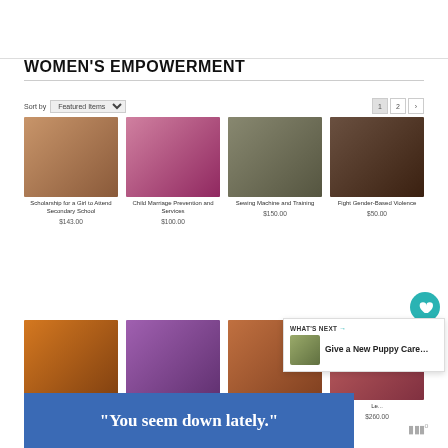WOMEN'S EMPOWERMENT
Sort by Featured Items
[Figure (photo): Group of girls smiling]
Scholarship for a Girl to Attend Secondary School
$143.00
[Figure (photo): Colorful fabric and hands]
Child Marriage Prevention and Services
$100.00
[Figure (photo): Woman operating sewing machine]
Sewing Machine and Training
$150.00
[Figure (photo): Woman in dark room]
Fight Gender-Based Violence
$50.00
[Figure (photo): Woman in orange headscarf holding box]
Financial Empowerment for Women
$25.00
[Figure (photo): Children gathering around adult]
Girls Mentorship Club
$81.00
[Figure (photo): Group of girls seated together]
Leadership Training for 1 Girl
$26.00
[Figure (photo): Girls in colorful clothing]
Le... $260.00
WHAT'S NEXT → Give a New Puppy Care…
"You seem down lately."